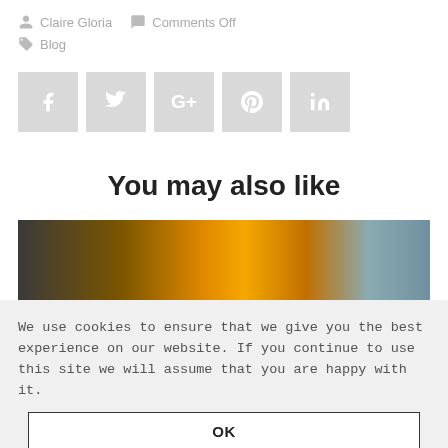Claire Gloria   Comments Off
Blog
[Figure (other): Social share buttons: Facebook (f), Twitter (bird), Google+ (G+), Pinterest (p), LinkedIn (in)]
You may also like
[Figure (photo): Photo of person in yellow/orange jacket, blurred background]
We use cookies to ensure that we give you the best experience on our website. If you continue to use this site we will assume that you are happy with it.
OK